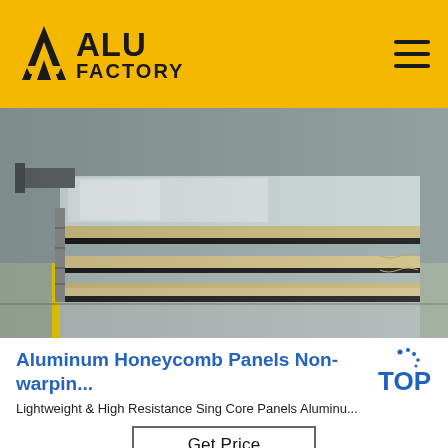ALU FACTORY
[Figure (photo): Stack of aluminum honeycomb panels stored in an industrial warehouse, showing multiple layered metallic sheets with protective wrapping on edges, on a concrete floor with yellow line markings visible.]
Aluminum Honeycomb Panels Non-warpin...
Lightweight & High Resistance Sing Core Panels Aluminu...
[Figure (logo): TOP badge logo with blue dot pattern above the letter O in TOP]
Get Price